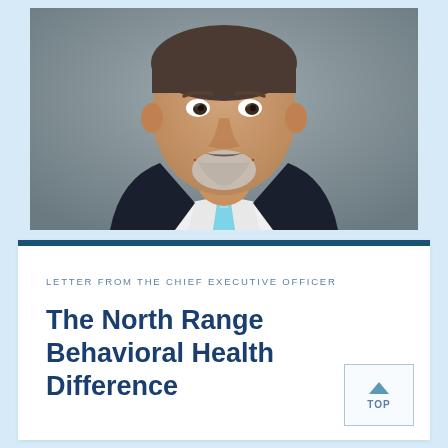[Figure (photo): Professional headshot of a smiling middle-aged man with a gray goatee, wearing a dark navy suit and light blue tie, photographed against a gray background.]
LETTER FROM THE CHIEF EXECUTIVE OFFICER
The North Range Behavioral Health Difference